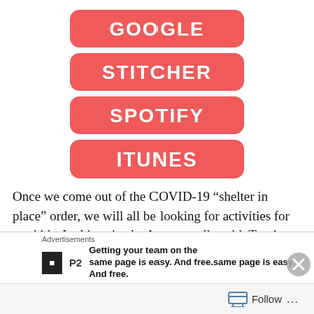[Figure (other): Four stacked red rounded-rectangle buttons labeled GOOGLE, STITCHER, SPOTIFY, ITUNES in white bold text]
Once we come out of the COVID-19 “shelter in place” order, we will all be looking for activities for our kids. In this episode, Autumn talks with Travis Hill, a central Texas native and one of the founders of Heart of Texas Field Guides. H.O.T. Field Guides a faith-based organization that teaches practical outdoor skills through monthly hunting or fishing trips, summer camps, and other outdoor
Advertisements
[Figure (other): Advertisement banner: P2 logo with text 'Getting your team on the same page is easy. And free.']
Follow ...